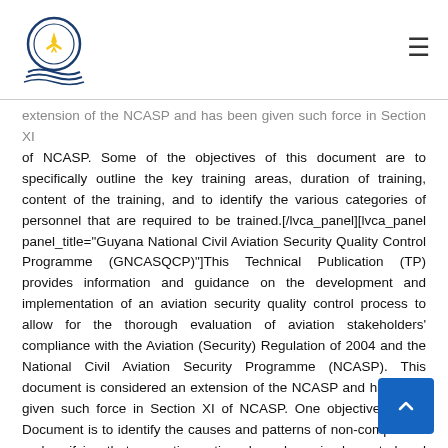[Logo] Guyana Civil Aviation Authority | [hamburger menu]
extension of the NCASP and has been given such force in Section XI of NCASP. Some of the objectives of this document are to specifically outline the key training areas, duration of training, content of the training, and to identify the various categories of personnel that are required to be trained.[/lvca_panel][lvca_panel panel_title="Guyana National Civil Aviation Security Quality Control Programme (GNCASQCP)"]This Technical Publication (TP) provides information and guidance on the development and implementation of an aviation security quality control process to allow for the thorough evaluation of aviation stakeholders' compliance with the Aviation (Security) Regulation of 2004 and the National Civil Aviation Security Programme (NCASP). This document is considered an extension of the NCASP and has been given such force in Section XI of NCASP. One objective of this Document is to identify the causes and patterns of non-compliance and verifying that corrective actions have been implemented and sustained.[/lvca_panel] [lvca_panel panel_title="Guyana National Civil Aviation Screeners Certification Programme (GNCASSCP) "]This Technical Publication (TP) provides information and guidance on the development and implementation of a Screener's certification programme for which